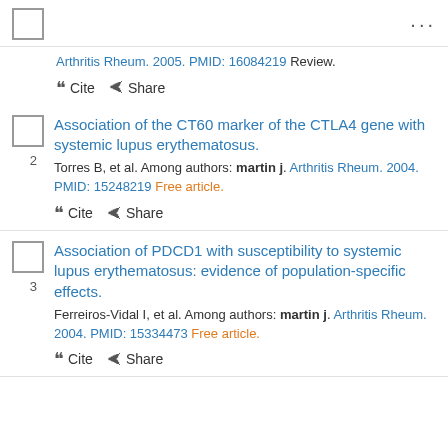Arthritis Rheum. 2005. PMID: 16084219 Review.
" Cite  < Share
Association of the CT60 marker of the CTLA4 gene with systemic lupus erythematosus.
Torres B, et al. Among authors: martin j. Arthritis Rheum. 2004. PMID: 15248219 Free article.
" Cite  < Share
Association of PDCD1 with susceptibility to systemic lupus erythematosus: evidence of population-specific effects.
Ferreiros-Vidal I, et al. Among authors: martin j. Arthritis Rheum. 2004. PMID: 15334473 Free article.
" Cite  < Share